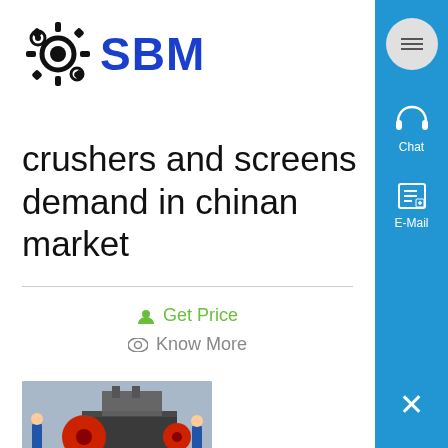[Figure (logo): SBM logo with gear/cog icon in black and blue text]
crushers and screens demand in chinan market
Get Price
Know More
[Figure (photo): Photograph of industrial crushing equipment in a factory/workshop setting]
Crushing Equipment Manufacturer